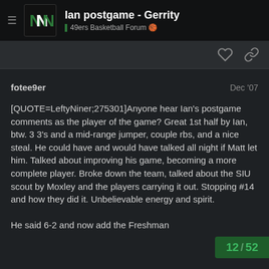Ian postgame - Gerrity | 49ers Basketball Forum
fotee9er   Dec '07
[QUOTE=LeftyNiner;275301]Anyone hear Ian's postgame comments as the player of the game? Great 1st half by Ian, btw. 3 3's and a mid-range jumper, couple rbs, and a nice steal. He could have and would have talked all night if Matt let him. Talked about improving his game, becoming a more complete player. Broke down the team, talked about the SIU scout by Moxley and the players carrying it out. Stopping #14 and how they did it. Unbelievable energy and spirit.

He said 6-2 and now add the Freshman
12 / 52